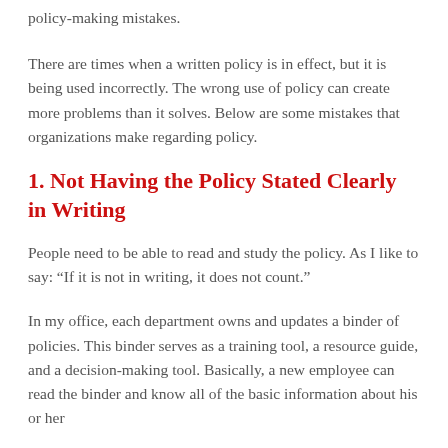policy-making mistakes.
There are times when a written policy is in effect, but it is being used incorrectly. The wrong use of policy can create more problems than it solves. Below are some mistakes that organizations make regarding policy.
1. Not Having the Policy Stated Clearly in Writing
People need to be able to read and study the policy. As I like to say: “If it is not in writing, it does not count.”
In my office, each department owns and updates a binder of policies. This binder serves as a training tool, a resource guide, and a decision-making tool. Basically, a new employee can read the binder and know all of the basic information about his or her